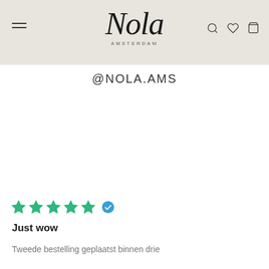Nola Amsterdam — @NOLA.AMS
@NOLA.AMS
Just wow
Tweede bestelling geplaatst binnen drie